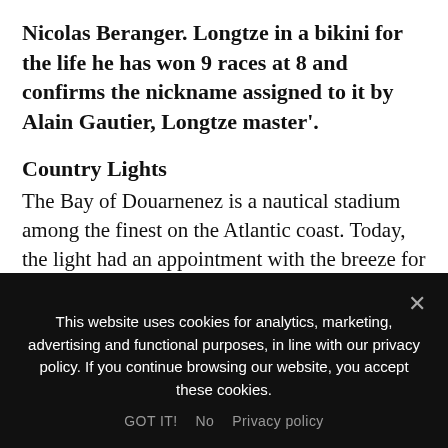Nicolas Beranger. Longtze in a bikini for the life he has won 9 races at 8 and confirms the nickname assigned to it by Alain Gautier, Longtze master'.
Country Lights
The Bay of Douarnenez is a nautical stadium among the finest on the Atlantic coast. Today, the light had an appointment with the breeze for the greatest happiness of the sailors present on the Grand Prix Guyader. Blowing at 25 knots, South wind, supported, has caused some spectacular 'bulk' for Longtze who returned to port after two races, while the M34, fond of the atmosphere for the less toned,
This website uses cookies for analytics, marketing, advertising and functional purposes, in line with our privacy policy. If you continue browsing our website, you accept these cookies.